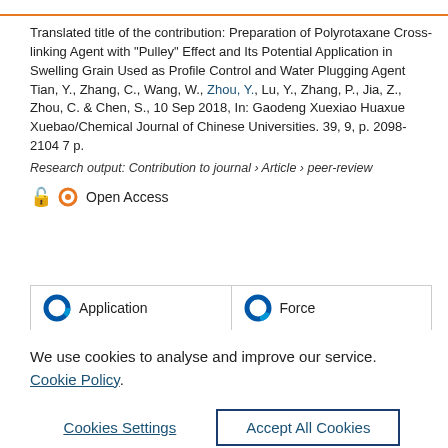Translated title of the contribution: Preparation of Polyrotaxane Cross-linking Agent with "Pulley" Effect and Its Potential Application in Swelling Grain Used as Profile Control and Water Plugging Agent
Tian, Y., Zhang, C., Wang, W., Zhou, Y., Lu, Y., Zhang, P., Jia, Z., Zhou, C. & Chen, S., 10 Sep 2018, In: Gaodeng Xuexiao Huaxue Xuebao/Chemical Journal of Chinese Universities. 39, 9, p. 2098-2104 7 p.
Research output: Contribution to journal › Article › peer-review
Open Access
Application   Force
We use cookies to analyse and improve our service. Cookie Policy
Cookies Settings   Accept All Cookies